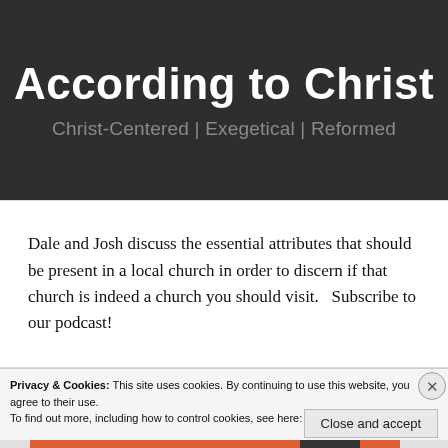According to Christ
Christ-Centered | Exegetical | Reformed
Dale and Josh discuss the essential attributes that should be present in a local church in order to discern if that church is indeed a church you should visit.   Subscribe to our podcast!
Privacy & Cookies: This site uses cookies. By continuing to use this website, you agree to their use.
To find out more, including how to control cookies, see here: Cookie Policy
Close and accept